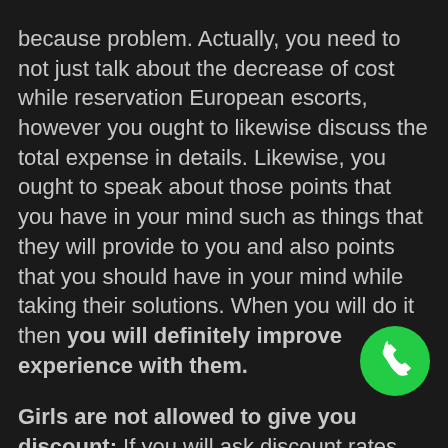because problem. Actually, you need to not just talk about the decrease of cost while reservation European escorts, however you ought to likewise discuss the total expense in details. Likewise, you ought to speak about those points that you have in your mind such as things that they will provide to you and also points that you should have in your mind while taking their solutions. When you will do it then you will definitely improve experience with them.

Girls are not allowed to give you discount: If you will ask discount rates from women, then you will never obtain it with them. European escorts could use discount rates on their service just if they get guideline for the exact same from their firm and if it not advised by the agency after that they can never provide you any type of decrease in the price. That's why it is important that you do not request for this from European escorts while taking their assistance. And also if you will certainly comply with these basic tips
[Figure (other): Green circular phone/call button icon in bottom right corner]